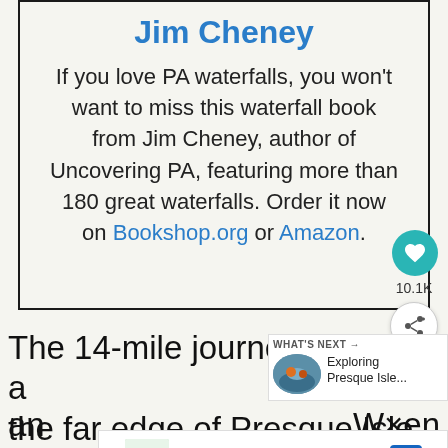Jim Cheney
If you love PA waterfalls, you won't want to miss this waterfall book from Jim Cheney, author of Uncovering PA, featuring more than 180 great waterfalls. Order it now on Bookshop.org or Amazon.
The 14-mile journey travels a... the far edge of Presque Isle State Park
[Figure (infographic): What's Next widget showing a rafting photo and text 'Exploring Presque Isle...']
[Figure (infographic): Advertisement banner for local shopping: In-store shopping, Curbside pickup, Delivery]